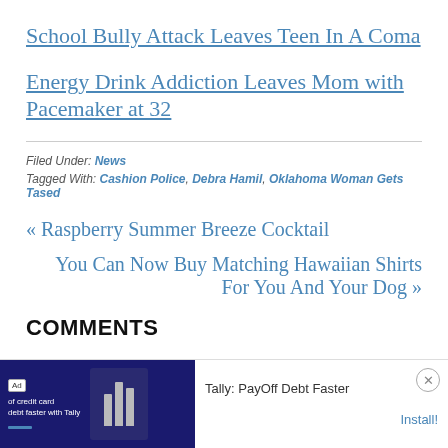School Bully Attack Leaves Teen In A Coma
Energy Drink Addiction Leaves Mom with Pacemaker at 32
Filed Under: News
Tagged With: Cashion Police, Debra Hamil, Oklahoma Woman Gets Tased
« Raspberry Summer Breeze Cocktail
You Can Now Buy Matching Hawaiian Shirts For You And Your Dog »
COMMENTS
[Figure (screenshot): Advertisement banner: Tally credit card debt app ad with logo and Install button]